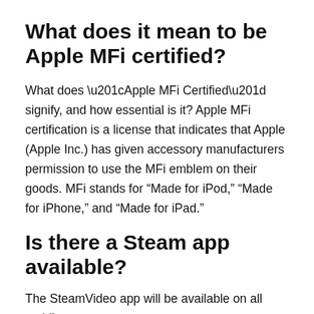What does it mean to be Apple MFi certified?
What does “Apple MFi Certified” signify, and how essential is it? Apple MFi certification is a license that indicates that Apple (Apple Inc.) has given accessory manufacturers permission to use the MFi emblem on their goods. MFi stands for “Made for iPod,” “Made for iPhone,” and “Made for iPad.”
Is there a Steam app available?
The SteamVideo app will be available on all mobile